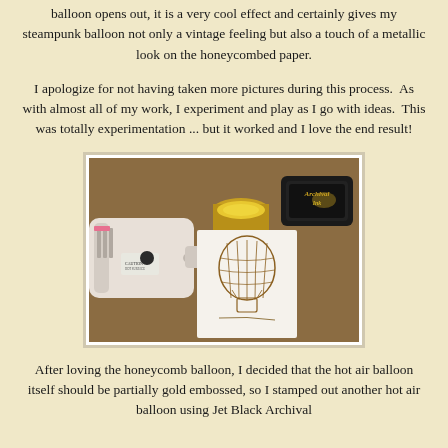balloon opens out, it is a very cool effect and certainly gives my steampunk balloon not only a vintage feeling but also a touch of a metallic look on the honeycombed paper.
I apologize for not having taken more pictures during this process.  As with almost all of my work, I experiment and play as I go with ideas.  This was totally experimentation ... but it worked and I love the end result!
[Figure (photo): Photo showing a heat gun, a jar of gold embossing powder, a black ink pad (Archival Ink by Ranger), and a stamped hot air balloon image on white paper, all on a wooden surface.]
After loving the honeycomb balloon, I decided that the hot air balloon itself should be partially gold embossed, so I stamped out another hot air balloon using Jet Black Archival